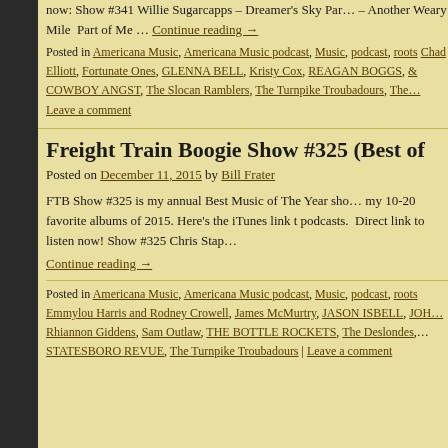now: Show #341 Willie Sugarcapps – Dreamer's Sky Part – Another Weary Mile  Part of Me … Continue reading →
Posted in Americana Music, Americana Music podcast, Music, podcast, roots Chad Elliott, Fortunate Ones, GLENNA BELL, Kristy Cox, REAGAN BOGGS, & COWBOY ANGST, The Slocan Ramblers, The Turnpike Troubadours, The Leave a comment
Freight Train Boogie Show #325 (Best of
Posted on December 11, 2015 by Bill Frater
FTB Show #325 is my annual Best Music of The Year show my 10-20 favorite albums of 2015. Here's the iTunes link t podcasts.  Direct link to listen now! Show #325 Chris Stap
Continue reading →
Posted in Americana Music, Americana Music podcast, Music, podcast, roots Emmylou Harris and Rodney Crowell, James McMurtry, JASON ISBELL, JOH Rhiannon Giddens, Sam Outlaw, THE BOTTLE ROCKETS, The Deslondes, STATESBORO REVUE, The Turnpike Troubadours | Leave a comment